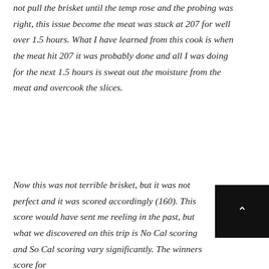not pull the brisket until the temp rose and the probing was right, this issue become the meat was stuck at 207 for well over 1.5 hours. What I have learned from this cook is when the meat hit 207 it was probably done and all I was doing for the next 1.5 hours is sweat out the moisture from the meat and overcook the slices.
Now this was not terrible brisket, but it was not perfect and it was scored accordingly (160). This score would have sent me reeling in the past, but what we discovered on this trip is No Cal scoring and So Cal scoring vary significantly. The winners score for
[Figure (other): A small black square UI element with a white upward-pointing caret/chevron arrow, likely a scroll-to-top button]